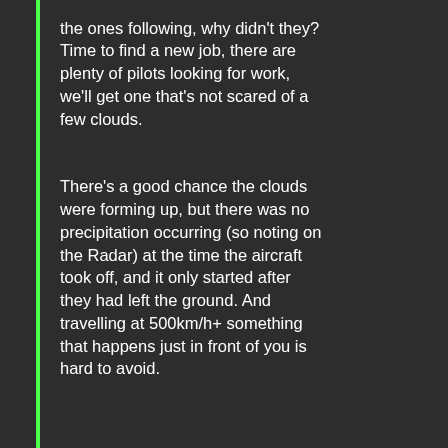the ones following, why didn't they? Time to find a new job, there are plenty of pilots looking for work, we'll get one that's not scared of a few clouds.
There's a good chance the clouds were forming up, but there was no precipitation occurring (so noting on the Radar) at the time the aircraft took off, and it only started after they had left the ground. And travelling at 500km/h+ something that happens just in front of you is hard to avoid.
But if the weather was on the Radar before the aircraft left the ground then some very hard questions need to be asked of the ATC & the plane's crew.